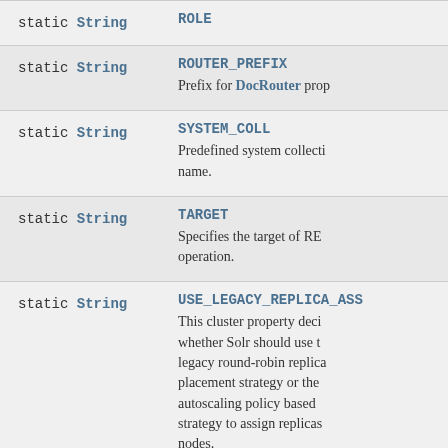| Modifier and Type | Field and Description |
| --- | --- |
| static String | ROLE
(truncated) |
| static String | ROUTER_PREFIX
Prefix for DocRouter prop |
| static String | SYSTEM_COLL
Predefined system collection name. |
| static String | TARGET
Specifies the target of REL operation. |
| static String | USE_LEGACY_REPLICA_ASS
This cluster property decides whether Solr should use the legacy round-robin replica placement strategy or the autoscaling policy based strategy to assign replicas nodes. |
| static String | WITH_COLLECTION
The name of the collection which a collection is to be... |